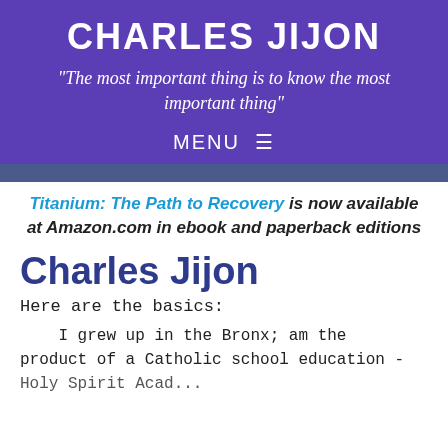CHARLES JIJON
"The most important thing is to know the most important thing"
MENU ≡
Titanium: The Path to Recovery is now available at Amazon.com in ebook and paperback editions
Charles Jijon
Here are the basics:
I grew up in the Bronx; am the product of a Catholic school education - Holy Spirit Academy and Cardinal H...